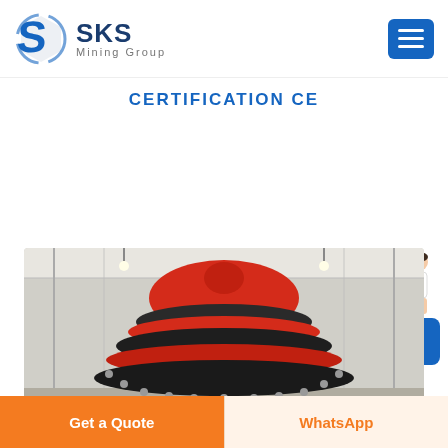SKS Mining Group
CERTIFICATION CE
[Figure (photo): Close-up industrial photo of a large red and dark grey cone crusher head inside a factory warehouse, showing the mantle with orange/red and black alternating rings and bolt rings at the base]
Free chat
Get a Quote
WhatsApp